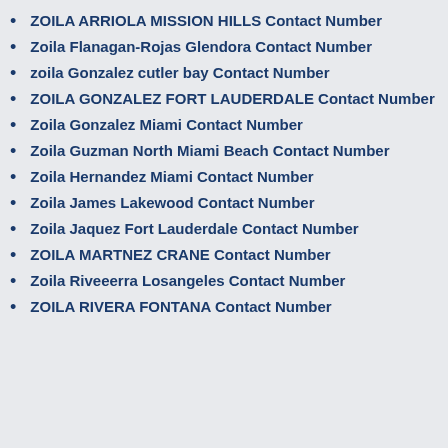ZOILA ARRIOLA MISSION HILLS Contact Number
Zoila Flanagan-Rojas Glendora Contact Number
zoila Gonzalez cutler bay Contact Number
ZOILA GONZALEZ FORT LAUDERDALE Contact Number
Zoila Gonzalez Miami Contact Number
Zoila Guzman North Miami Beach Contact Number
Zoila Hernandez Miami Contact Number
Zoila James Lakewood Contact Number
Zoila Jaquez Fort Lauderdale Contact Number
ZOILA MARTNEZ CRANE Contact Number
Zoila Riveeerra Losangeles Contact Number
ZOILA RIVERA FONTANA Contact Number